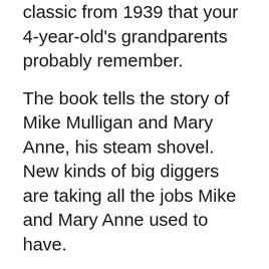classic from 1939 that your 4-year-old's grandparents probably remember.
The book tells the story of Mike Mulligan and Mary Anne, his steam shovel. New kinds of big diggers are taking all the jobs Mike and Mary Anne used to have.
But Mike won't give up on Mary Anne and finds a town that needs a cellar dug for its new town hall. He promises they can dig the cellar in one day. The town gathers to see if they can.
The book is a bit old-fashioned and the text can get a bit long (there were lines to read aloud that started to drag).